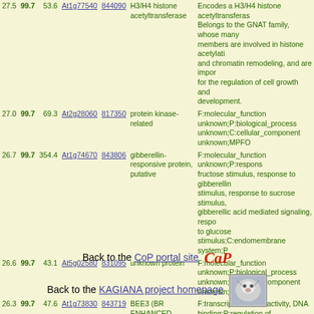| Score | Pct | MW | Gene ID | TAIR ID | Description | GO Annotation |
| --- | --- | --- | --- | --- | --- | --- |
| 27.5 | 99.7 | 53.6 | At1g77540 | 844090 | H3/H4 histone acetyltransferase | Encodes a H3/H4 histone acetyltransferase... Belongs to the GNAT family... |
| 27.0 | 99.7 | 69.3 | At2g28060 | 817350 | protein kinase-related | F:molecular_function unknown;P:biological_process unknown;C:cellular_component unknown;MPFO |
| 26.7 | 99.7 | 354.4 | At1g74670 | 843806 | gibberellin-responsive protein, putative | F:molecular_function unknown;P:response to fructose stimulus, response to gibberellin stimulus... |
| 26.6 | 99.7 | 43.1 | At5g02580 | 831095 | unknown protein | F:molecular_function unknown;P:biological_process unknown;C:cellular_component unknown; |
| 26.3 | 99.7 | 47.6 | At1g73830 | 843719 | BEE3 (BR ENHANCED EXPRESSION 3) | F:transcription factor activity, DNA binding;P:regulation of transcription;C:nucleus;PFMBO |
| 26.3 | 99.7 | 17.7 | At5g49170 | 834976 | unknown protein | F:molecular_function unknown;P:biological_process unknown;C:cellular_component unknown; |
Back to the CoP portal site
Back to the KAGIANA project homepage